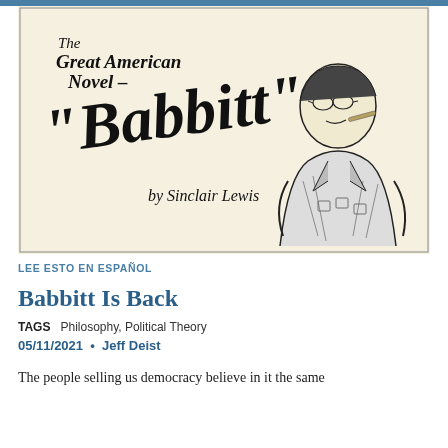[Figure (illustration): Book cover illustration of 'Babbitt' by Sinclair Lewis, described as 'The Great American Novel'. Shows a caricature of a stout man with glasses and cigar, rendered in black ink on cream/yellow background.]
LEE ESTO EN ESPAÑOL
Babbitt Is Back
TAGS   Philosophy, Political Theory
05/11/2021  •  Jeff Deist
The people selling us democracy believe in it the same